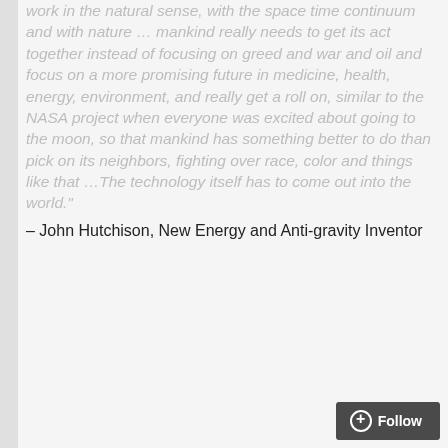work in the natural sense, with the space time continuum and with nature … mankind really needs to get its act together instead of focusing on greed and war and oil and focus on a more promising future in medicine, health, energy, environment, and really get a roll on, similar to the NASA project when everyone was excited about going to the moon, so that mankind has something better to do than pick on its neighbors, fighting over race, color and things like that …The technology itself has to come out into the world."
– John Hutchison, New Energy and Anti-gravity Inventor